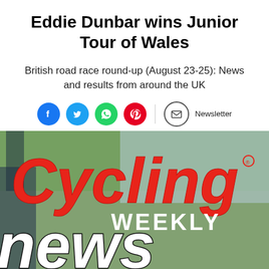Eddie Dunbar wins Junior Tour of Wales
British road race round-up (August 23-25): News and results from around the UK
[Figure (other): Social sharing icons: Facebook, Twitter, WhatsApp, Pinterest, and Newsletter email button]
[Figure (logo): Cycling Weekly news logo — large red italic 'Cycling' text with 'WEEKLY' below in white on red, and 'news' in large black and white text at bottom, set against a blurred outdoor background]